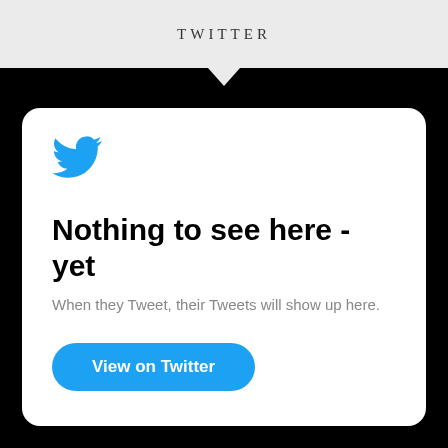TWITTER
[Figure (logo): Twitter bird logo in blue]
Nothing to see here - yet
When they Tweet, their Tweets will show up here.
View on Twitter